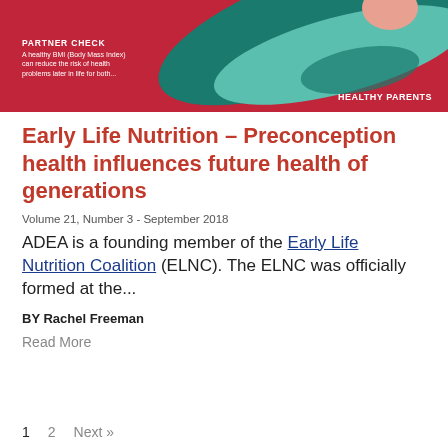[Figure (illustration): Red/crimson background health illustration with teal and mint leaf/hand shapes and a person image at top. Contains text 'PARTNER CHECK', 'A healthy BMI (Body Mass Index) can reduce the risk of health problems later in life for both...' and 'HEALTHY PARENTS' label on right side.]
Early Life Nutrition – Preconception health influences future health of generations
Volume 21, Number 3 - September 2018
ADEA is a founding member of the Early Life Nutrition Coalition (ELNC). The ELNC was officially formed at the...
BY Rachel Freeman
Read More
1  2  Next »